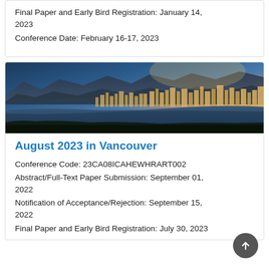Final Paper and Early Bird Registration: January 14, 2023
Conference Date: February 16-17, 2023
[Figure (photo): Panoramic city skyline photo of Vancouver at sunset with mountains in the background and water in the foreground]
August 2023 in Vancouver
Conference Code: 23CA08ICAHEWHRART002
Abstract/Full-Text Paper Submission: September 01, 2022
Notification of Acceptance/Rejection: September 15, 2022
Final Paper and Early Bird Registration: July 30, 2023